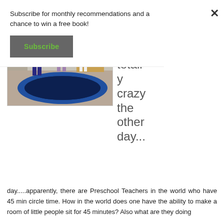Subscribe for monthly recommendations and a chance to win a free book!
Subscribe
[Figure (photo): Three young preschool-age children standing in a colorful classroom with educational posters, shelves with supplies, and a large alphabet/number rug on the floor.]
so I read something totally crazy the other day.....apparently, there are Preschool Teachers in the world who have 45 min circle time. How in the world does one have the ability to make a room of little people sit for 45 minutes? Also what are they doing
×